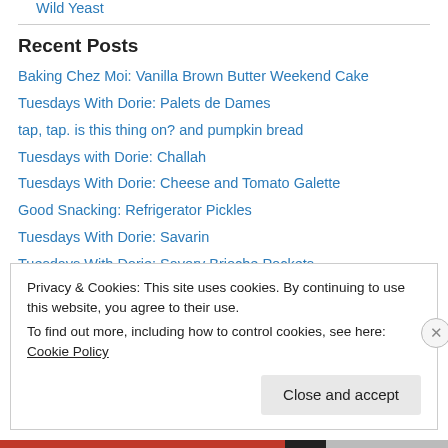Wild Yeast
Recent Posts
Baking Chez Moi: Vanilla Brown Butter Weekend Cake
Tuesdays With Dorie: Palets de Dames
tap, tap. is this thing on? and pumpkin bread
Tuesdays with Dorie: Challah
Tuesdays With Dorie: Cheese and Tomato Galette
Good Snacking: Refrigerator Pickles
Tuesdays With Dorie: Savarin
Tuesdays With Dorie: Savory Brioche Pockets
Privacy & Cookies: This site uses cookies. By continuing to use this website, you agree to their use. To find out more, including how to control cookies, see here: Cookie Policy